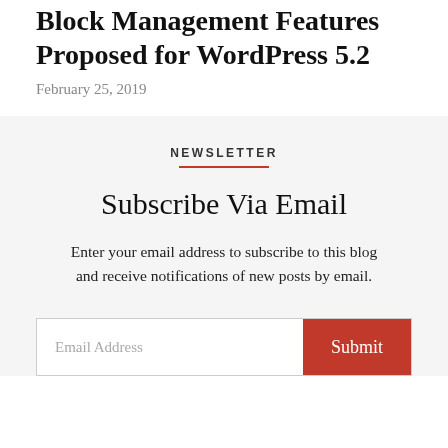Block Management Features Proposed for WordPress 5.2
February 25, 2019
NEWSLETTER
Subscribe Via Email
Enter your email address to subscribe to this blog and receive notifications of new posts by email.
Email Address | Submit